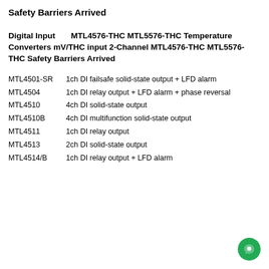Safety Barriers Arrived
Digital Input      MTL4576-THC MTL5576-THC Temperature Converters mV/THC input 2-Channel MTL4576-THC MTL5576-THC Safety Barriers Arrived
MTL4501-SR    1ch DI failsafe solid-state output + LFD alarm
MTL4504        1ch DI relay output + LFD alarm + phase reversal
MTL4510        4ch DI solid-state output
MTL4510B       4ch DI multifunction solid-state output
MTL4511        1ch DI relay output
MTL4513        2ch DI solid-state output
MTL4514/B      1ch DI relay output + LFD alarm